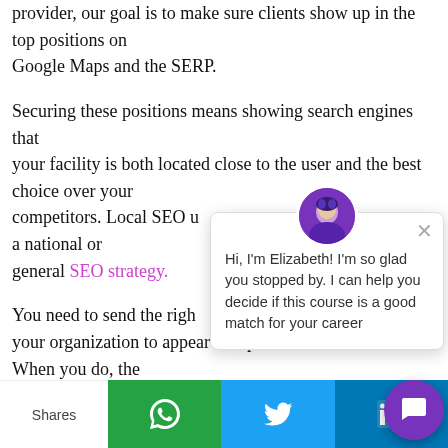provider, our goal is to make sure clients show up in the top positions on Google Maps and the SERP.

Securing these positions means showing search engines that your facility is both located close to the user and the best choice over your competitors. Local SEO u[ses different tactics than] a national or general SEO strategy.

You need to send the righ[t signals to help] your organization to appear for specific location searches. When you do, the
[Figure (screenshot): Chat widget overlay with avatar of a woman, close button, and message: Hi, I'm Elizabeth! I'm so glad you stopped by. I can help you decide if this course is a good match for your career]
Shares | WhatsApp | Twitter | LinkedIn